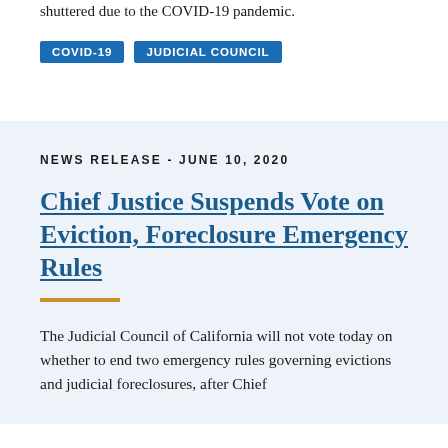shuttered due to the COVID-19 pandemic.
COVID-19   JUDICIAL COUNCIL
NEWS RELEASE - JUNE 10, 2020
Chief Justice Suspends Vote on Eviction, Foreclosure Emergency Rules
The Judicial Council of California will not vote today on whether to end two emergency rules governing evictions and judicial foreclosures, after Chief